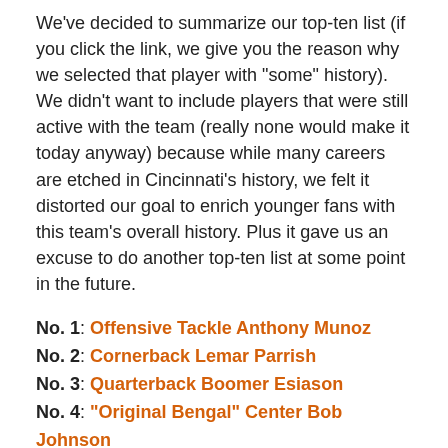We've decided to summarize our top-ten list (if you click the link, we give you the reason why we selected that player with "some" history). We didn't want to include players that were still active with the team (really none would make it today anyway) because while many careers are etched in Cincinnati's history, we felt it distorted our goal to enrich younger fans with this team's overall history. Plus it gave us an excuse to do another top-ten list at some point in the future.
No. 1: Offensive Tackle Anthony Munoz
No. 2: Cornerback Lemar Parrish
No. 3: Quarterback Boomer Esiason
No. 4: "Original Bengal" Center Bob Johnson
No. 5: Cornerback Ken "The Rattler" Riley
No. 6: Quarterback Ken Anderson
No. 7: Linebacker Reggie Williams